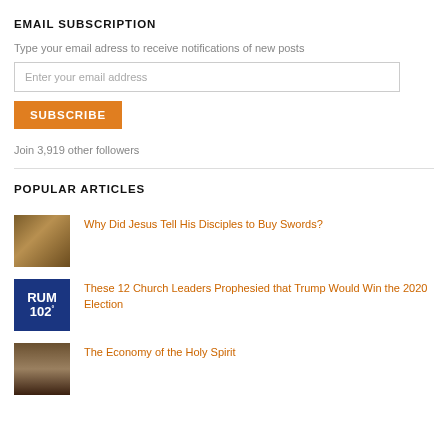EMAIL SUBSCRIPTION
Type your email adress to receive notifications of new posts
Enter your email address
SUBSCRIBE
Join 3,919 other followers
POPULAR ARTICLES
Why Did Jesus Tell His Disciples to Buy Swords?
These 12 Church Leaders Prophesied that Trump Would Win the 2020 Election
The Economy of the Holy Spirit